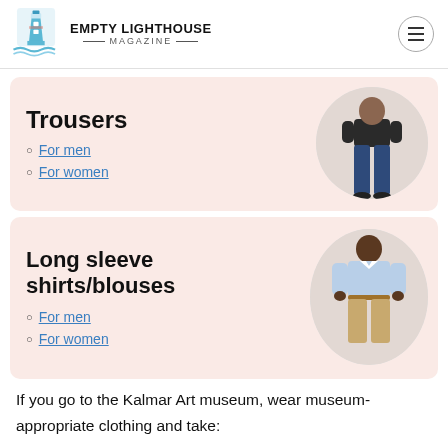EMPTY LIGHTHOUSE MAGAZINE
Trousers
For men
For women
[Figure (photo): Person wearing navy blue trousers, photo in circular crop]
Long sleeve shirts/blouses
For men
For women
[Figure (photo): Person wearing light blue long sleeve shirt with khaki shorts, photo in circular crop]
If you go to the Kalmar Art museum, wear museum-appropriate clothing and take: